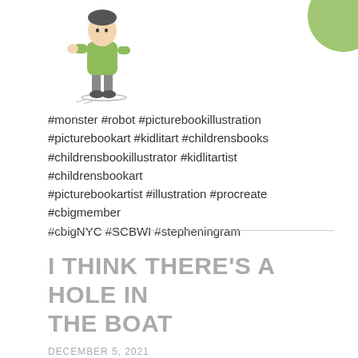[Figure (illustration): Partial illustration of a cartoon character (child/person in green hoodie and grey pants walking) at top left, and a partial green round character/object at top right, cropped at the top of the page.]
#monster #robot #picturebookillustration #picturebookart #kidlitart #childrensbooks #childrensbookillustrator #kidlitartist #childrensbookart #picturebookartist #illustration #procreate #cbigmember #cbigNYC #SCBWI #stepheningram
I THINK THERE'S A HOLE IN THE BOAT
DECEMBER 5, 2021